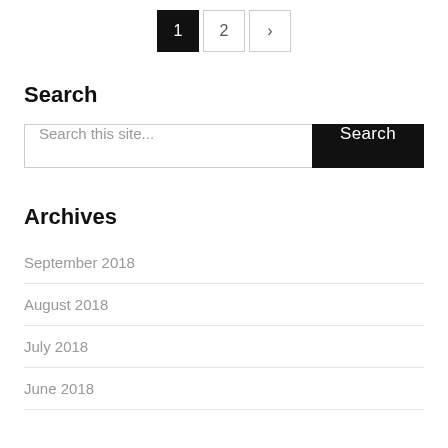[Figure (other): Pagination control showing page 1 (active, black background), page 2, and next arrow button]
Search
[Figure (other): Search bar with placeholder 'Search this site...' and a black Search button]
Archives
September 2018
August 2018
July 2018
June 2018